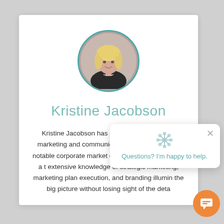[Figure (photo): Circular profile photo of Kristine Jacobson, a woman with blonde wavy hair, with a teal border ring]
Kristine Jacobson
Kristine Jacobson has more than 25 years of marketing and communications experience with notable corporate market contenders. strategy with a t extensive knowledge of strategic marketing, marketing plan execution, and branding illumin the big picture without losing sight of the deta
[Figure (illustration): Chat popup overlay with snowflake/flower icon, close X button, and text 'Questions? I'm happy to help.']
[Figure (illustration): Orange circular chat bubble button in bottom-right corner]